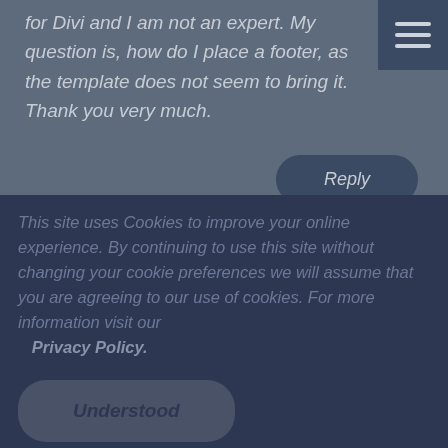for Divi and I am not an expert. My question is, how do I place a footer, as the template does not seem to bring it. Thank you very much.
Reply
This site uses Cookies to improve your online experience. By continuing to use this site without changing your cookie preferences we will assume that you are agreeing to our use of cookies. For more information visit our Privacy Policy.
Understood